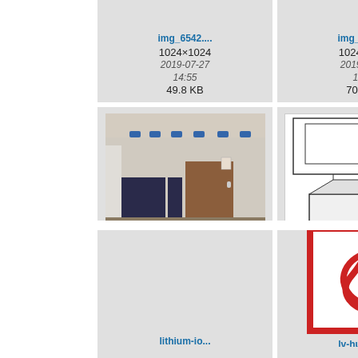[Figure (screenshot): File browser / media gallery view showing image thumbnails with filenames, dimensions, dates, and file sizes. Row 1 (partial): img_6542... (1024×1024, 2019-07-27 14:55, 49.8 KB), img_9807... (1024×1024, 2019-07-27 14:55, 70.3 KB), img_9... (1024×..., 2019-... 16:..., 47.4...). Row 2: installation... photo thumbnail (1280×960, 2021-04-15 09:53, 84.6 KB), lgresucirrc... diagram thumbnail (844×929, 2016-05-18 09:22, 68.3 KB), lgresu... (495×..., 2016-... 09:..., 31...). Row 3 (partial): lithium-io... (blank cell), lv-hub_co... (PDF icon thumbnail), lynx_i... (blank cell).]